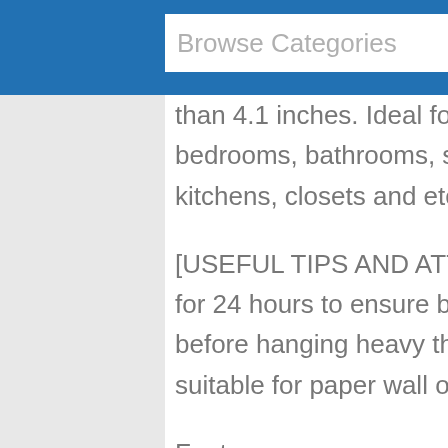Browse Categories
than 4.1 inches. Ideal for use in bedrooms, bathrooms, study rooms, kitchens, closets and etc.
[USEFUL TIPS AND ATTENTION] - Rest it for 24 hours to ensure better adhesive before hanging heavy things on it. Not suitable for paper wall or painted wall.
Feature:
1. All-round waterproof, water will not wet the paper towel
2. The large storage table can easily place daily items,